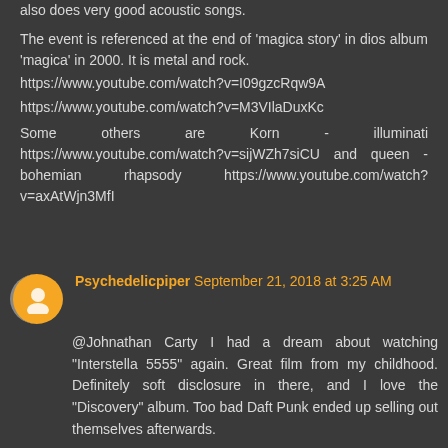also does very good acoustic songs.

The event is referenced at the end of 'magica story' in dios album 'magica' in 2000. It is metal and rock.
https://www.youtube.com/watch?v=I09gzcRqw9A

https://www.youtube.com/watch?v=M3VIlaDuxKc

Some others are Korn - illuminati https://www.youtube.com/watch?v=sijWZh7siCU and queen - bohemian rhapsody https://www.youtube.com/watch?v=axAtWjn3MfI
Psychedelicpiper September 21, 2018 at 3:25 AM
@Johnathan Carty I had a dream about watching "Interstella 5555" again. Great film from my childhood. Definitely soft disclosure in there, and I love the "Discovery" album. Too bad Daft Punk ended up selling out themselves afterwards.